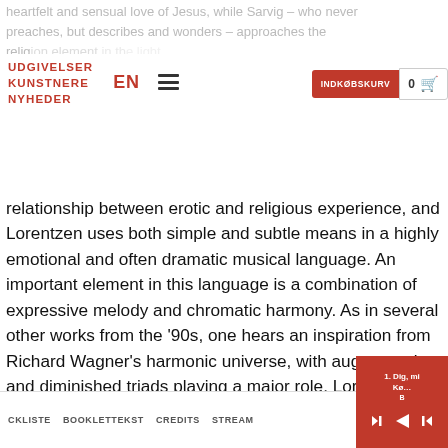heartfelt and sensual love of Jesus, while Sarvig – who never preaches, but describes and wonders – approaches the religion element in the light of this way, this becomes a fascinating exploration of the
UDGIVELSER KUNSTNERE NYHEDER | EN | ☰ | INDKØBSKURV 0
relationship between erotic and religious experience, and Lorentzen uses both simple and subtle means in a highly emotional and often dramatic musical language. An important element in this language is a combination of expressive melody and chromatic harmony. As in several other works from the '90s, one hears an inspiration from Richard Wagner's harmonic universe, with augmented and diminished triads playing a major role. Lorentzen, however, uses the inherent tension of such chords in a very different way from Wagner whose chromaticism always referred to a tonal center. There is no clear tonal center here; the dissonances are not really
CKLISTE   BOOKLETTEKST   CREDITS   STREAM
[Figure (other): Media player widget in bottom right corner showing track '1. Dig, min Kø…B' with playback controls (previous, next buttons)]